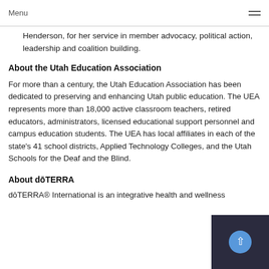Menu
Henderson, for her service in member advocacy, political action, leadership and coalition building.
About the Utah Education Association
For more than a century, the Utah Education Association has been dedicated to preserving and enhancing Utah public education. The UEA represents more than 18,000 active classroom teachers, retired educators, administrators, licensed educational support personnel and campus education students. The UEA has local affiliates in each of the state's 41 school districts, Applied Technology Colleges, and the Utah Schools for the Deaf and the Blind.
About dōTERRA
dōTERRA® International is an integrative health and wellness